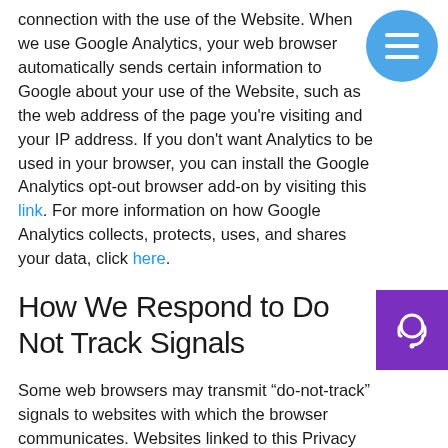connection with the use of the Website. When we use Google Analytics, your web browser automatically sends certain information to Google about your use of the Website, such as the web address of the page you're visiting and your IP address. If you don't want Analytics to be used in your browser, you can install the Google Analytics opt-out browser add-on by visiting this link. For more information on how Google Analytics collects, protects, uses, and shares your data, click here.
How We Respond to Do Not Track Signals
Some web browsers may transmit “do-not-track” signals to websites with which the browser communicates. Websites linked to this Privacy Notice do not currently respond to these “do-not-track” signals.
California Privacy Rights